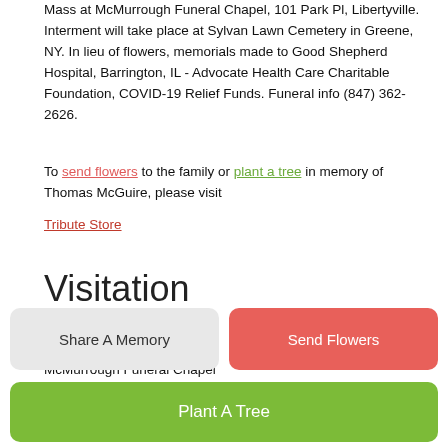Mass at McMurrough Funeral Chapel, 101 Park Pl, Libertyville. Interment will take place at Sylvan Lawn Cemetery in Greene, NY. In lieu of flowers, memorials made to Good Shepherd Hospital, Barrington, IL - Advocate Health Care Charitable Foundation, COVID-19 Relief Funds. Funeral info (847) 362-2626.
To send flowers to the family or plant a tree in memory of Thomas McGuire, please visit Tribute Store
Visitation
9:00 am - 10:15 am
Monday, November 16, 2020
McMurrough Funeral Chapel
Share A Memory
Send Flowers
Plant A Tree